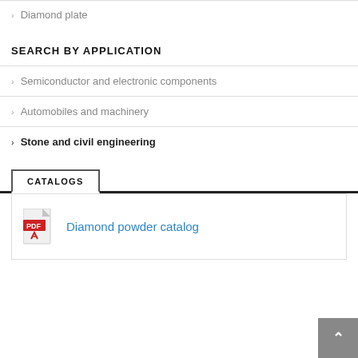Diamond plate
SEARCH BY APPLICATION
Semiconductor and electronic components
Automobiles and machinery
Stone and civil engineering
CATALOGS
Diamond powder catalog